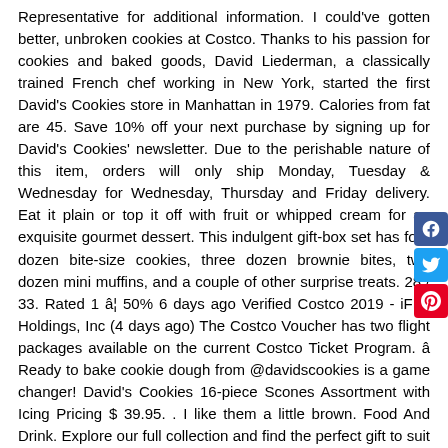Representative for additional information. I could've gotten better, unbroken cookies at Costco. Thanks to his passion for cookies and baked goods, David Liederman, a classically trained French chef working in New York, started the first David's Cookies store in Manhattan in 1979. Calories from fat are 45. Save 10% off your next purchase by signing up for David's Cookies' newsletter. Due to the perishable nature of this item, orders will only ship Monday, Tuesday & Wednesday for Wednesday, Thursday and Friday delivery. Eat it plain or top it off with fruit or whipped cream for an exquisite gourmet dessert. This indulgent gift-box set has four dozen bite-size cookies, three dozen brownie bites, two dozen mini muffins, and a couple of other surprise treats. 28 / 33. Rated 1 â¦ 50% 6 days ago Verified Costco 2019 - iFLY Holdings, Inc (4 days ago) The Costco Voucher has two flight packages available on the current Costco Ticket Program. âReady to bake cookie dough from @davidscookies is a game changer! David's Cookies 16-piece Scones Assortment with Icing Pricing $ 39.95. . I like them a little brown. Food And Drink. Explore our full collection and find the perfect gift to suit anyone's tastes, whether your recipient loves sweet treats, savory snacks, premium fruit, or all of the above. See more ideas about Cookie decorating, Holiday cookies, Cookies. Davids Cookies Crates (Birthday Brownies & Cookies Crate) 4.3 out of 5 stars 77. Donyale S Novembre 1, 2013. They can be frozen for up to a year and are available in 6 different â¦ Do You Expect Exceptional Value for Your Dollar & David's Cookies 10-piece S...
[Figure (other): Social media share buttons: Facebook (blue), Twitter (light blue), Pinterest (red)]